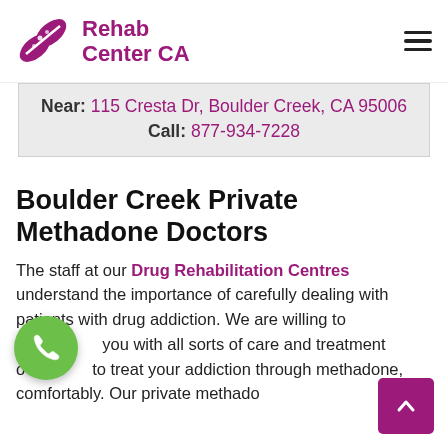Rehab Center CA
Near: 115 Cresta Dr, Boulder Creek, CA 95006
Call: 877-934-7228
Boulder Creek Private Methadone Doctors
The staff at our Drug Rehabilitation Centres understand the importance of carefully dealing with patients with drug addiction. We are willing to provide you with all sorts of care and treatment options to treat your addiction through methadone, comfortably. Our private methadone doctors are always ready to help you recover from